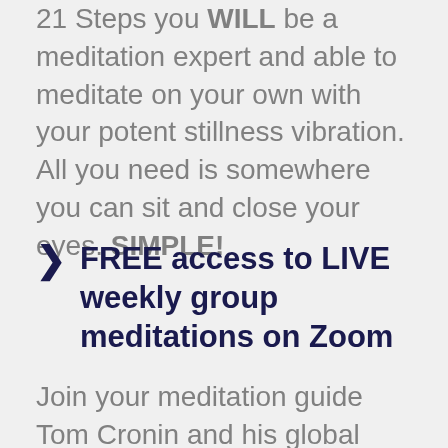21 Steps you WILL be a meditation expert and able to meditate on your own with your potent stillness vibration. All you need is somewhere you can sit and close your eyes. SIMPLE!
FREE access to LIVE weekly group meditations on Zoom
Join your meditation guide Tom Cronin and his global community of meditators on these live Zoom calls each week. In